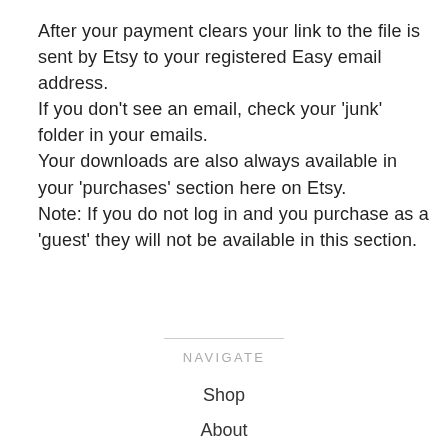After your payment clears your link to the file is sent by Etsy to your registered Easy email address. If you don't see an email, check your 'junk' folder in your emails. Your downloads are also always available in your 'purchases' section here on Etsy. Note: If you do not log in and you purchase as a 'guest' they will not be available in this section.
NAVIGATE
Shop
About